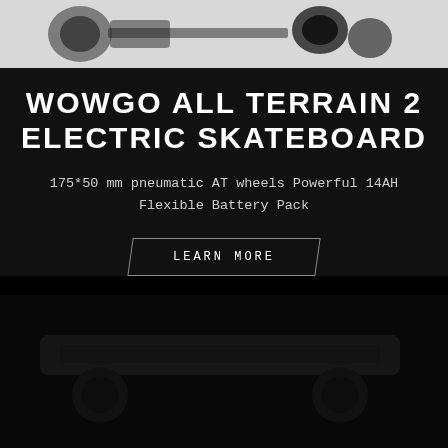[Figure (photo): Top portion of electric skateboard components on white/grey background - gears, pulleys, and wheel parts visible]
WOWGO ALL TERRAIN 2 ELECTRIC SKATEBOARD
175*50 mm pneumatic AT wheels Powerful 14AH Flexible Battery Pack
LEARN MORE
[Figure (photo): Dark background image of electric skateboard, very low visibility against black background]